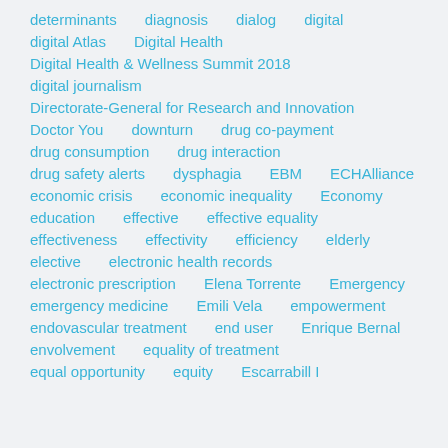determinants
diagnosis
dialog
digital
digital Atlas
Digital Health
Digital Health & Wellness Summit 2018
digital journalism
Directorate-General for Research and Innovation
Doctor You
downturn
drug co-payment
drug consumption
drug interaction
drug safety alerts
dysphagia
EBM
ECHAlliance
economic crisis
economic inequality
Economy
education
effective
effective equality
effectiveness
effectivity
efficiency
elderly
elective
electronic health records
electronic prescription
Elena Torrente
Emergency
emergency medicine
Emili Vela
empowerment
endovascular treatment
end user
Enrique Bernal
envolvement
equality of treatment
equal opportunity
equity
Escarrabill I